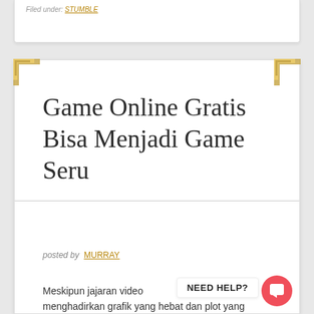posted by MURRAY
Game Online Gratis Bisa Menjadi Game Seru
posted by MURRAY
Meskipun jajaran video menghadirkan grafik yang hebat dan plot yang intens, mereka dapat membutuhkan banyak